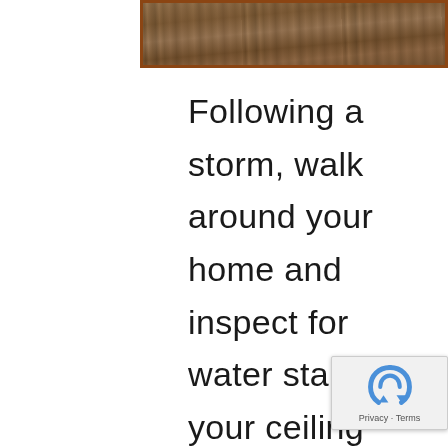[Figure (photo): Top portion of a weathered wooden deck or roof surface with brown tones, partial view]
Following a storm, walk around your home and inspect for water stains in your ceiling using a flashlight – if possible. Water stains can indicate the start of a water invasion danger. Expressway's expert roof repair techs recommend you never let leaks go without address or repair for very long. Leaky roofs almost always cause additional damage to other parts of your